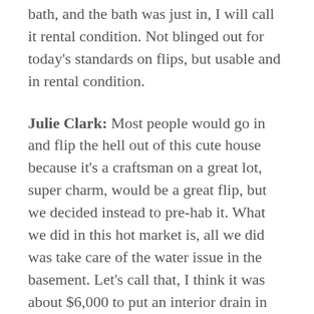bath, and the bath was just in, I will call it rental condition. Not blinged out for today's standards on flips, but usable and in rental condition.
Julie Clark: Most people would go in and flip the hell out of this cute house because it's a craftsman on a great lot, super charm, would be a great flip, but we decided instead to pre-hab it. What we did in this hot market is, all we did was take care of the water issue in the basement. Let's call that, I think it was about $6,000 to put an interior drain in there. We left the basement totally unfinished. Just installed an interior drain system to get rid of the water so it wouldn't be a problem for the bank. It's funny because the buyers didn't care and you got to make that distinction. You got to